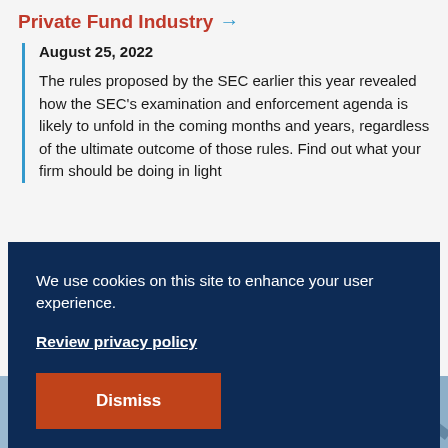Private Fund Industry →
August 25, 2022
The rules proposed by the SEC earlier this year revealed how the SEC's examination and enforcement agenda is likely to unfold in the coming months and years, regardless of the ultimate outcome of those rules. Find out what your firm should be doing in light
We use cookies on this site to enhance your user experience.
Review privacy policy
Dismiss
[Figure (photo): Background photo of a building with architectural lines, blue-gray tones]